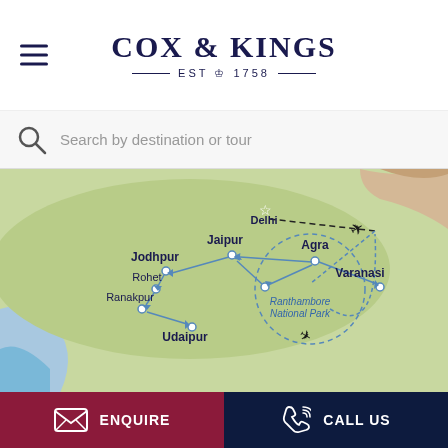COX & KINGS EST 1758
Search by destination or tour
[Figure (map): Tour route map of India showing cities: Jaipur, Agra, Varanasi, Jodhpur, Rohet, Ranakpur, Udaipur, and Ranthambore National Park, with arrows indicating travel routes and airplane icons showing flight connections.]
ENQUIRE
CALL US